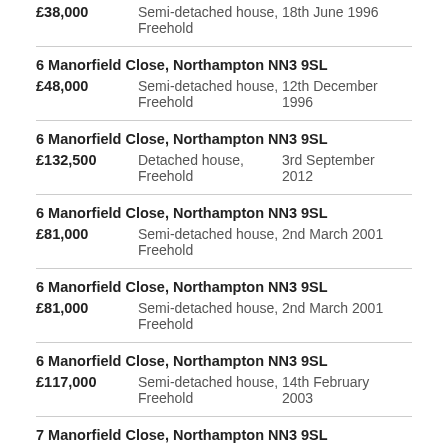£38,000   Semi-detached house, Freehold   18th June 1996
6 Manorfield Close, Northampton NN3 9SL
£48,000   Semi-detached house, Freehold   12th December 1996
6 Manorfield Close, Northampton NN3 9SL
£132,500   Detached house, Freehold   3rd September 2012
6 Manorfield Close, Northampton NN3 9SL
£81,000   Semi-detached house, Freehold   2nd March 2001
6 Manorfield Close, Northampton NN3 9SL
£81,000   Semi-detached house, Freehold   2nd March 2001
6 Manorfield Close, Northampton NN3 9SL
£117,000   Semi-detached house, Freehold   14th February 2003
7 Manorfield Close, Northampton NN3 9SL